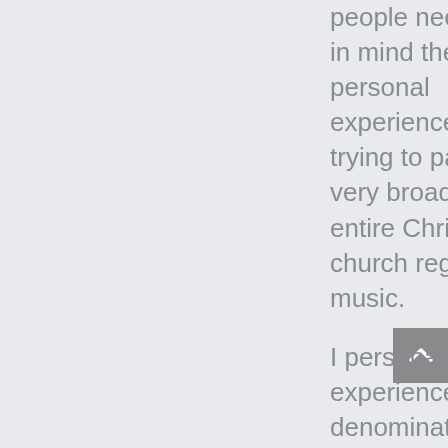people need to keep in mind their own personal experiences when trying to paint with a very broad brush the entire Christian church regarding music.
I personally have experience in many denominations including a